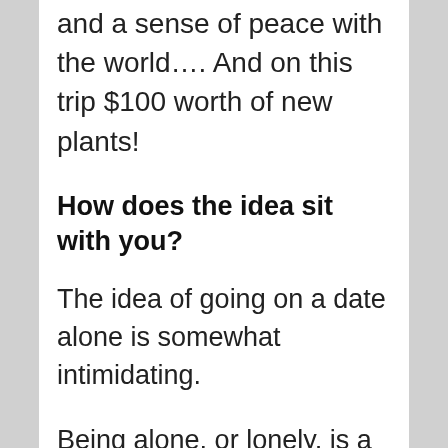and a sense of peace with the world…. And on this trip $100 worth of new plants!
How does the idea sit with you?
The idea of going on a date alone is somewhat intimidating.
Being alone, or lonely, is a very scary thing for midlife women experiencing an empty nest and trying to figure out their purpose in this season.